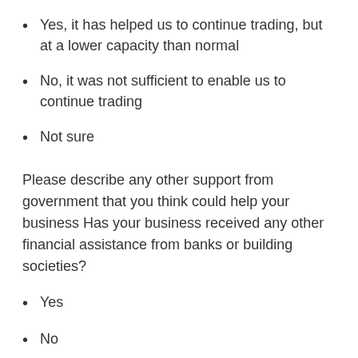Yes, it has helped us to continue trading, but at a lower capacity than normal
No, it was not sufficient to enable us to continue trading
Not sure
Please describe any other support from government that you think could help your business Has your business received any other financial assistance from banks or building societies?
Yes
No